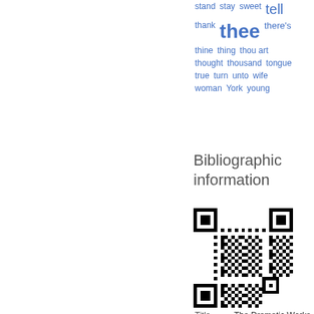stand  stay  sweet  tell  thank  thee  there's  thine  thing  thou art  thought  thousand  tongue  true  turn  unto  wife  woman  York  young
Bibliographic information
[Figure (other): QR code for bibliographic information]
Title    The Dramatic Works of William